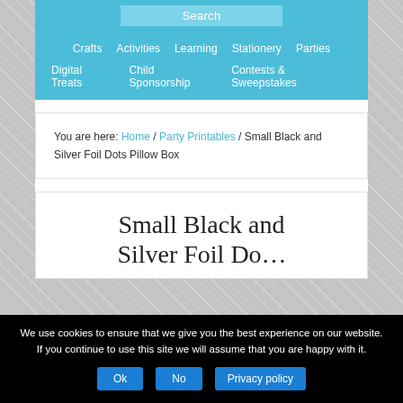Search | Crafts | Activities | Learning | Stationery | Parties | Digital Treats | Child Sponsorship | Contests & Sweepstakes
You are here: Home / Party Printables / Small Black and Silver Foil Dots Pillow Box
Small Black and Silver Foil Do...
We use cookies to ensure that we give you the best experience on our website. If you continue to use this site we will assume that you are happy with it. Ok | No | Privacy policy